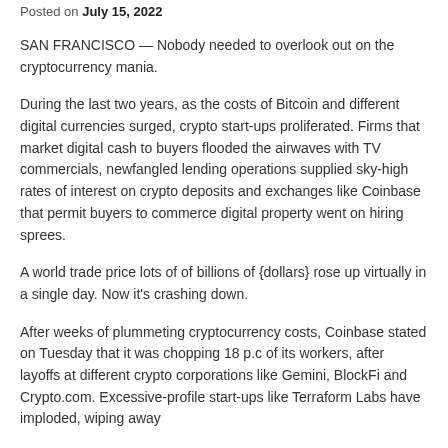Posted on July 15, 2022
SAN FRANCISCO — Nobody needed to overlook out on the cryptocurrency mania.
During the last two years, as the costs of Bitcoin and different digital currencies surged, crypto start-ups proliferated. Firms that market digital cash to buyers flooded the airwaves with TV commercials, newfangled lending operations supplied sky-high rates of interest on crypto deposits and exchanges like Coinbase that permit buyers to commerce digital property went on hiring sprees.
A world trade price lots of of billions of {dollars} rose up virtually in a single day. Now it's crashing down.
After weeks of plummeting cryptocurrency costs, Coinbase stated on Tuesday that it was chopping 18 p.c of its workers, after layoffs at different crypto corporations like Gemini, BlockFi and Crypto.com. Excessive-profile start-ups like Terraform Labs have imploded, wiping away